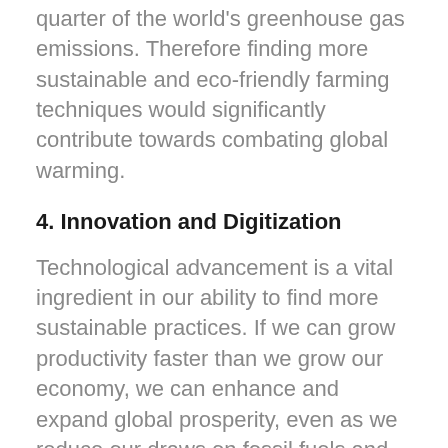quarter of the world's greenhouse gas emissions. Therefore finding more sustainable and eco-friendly farming techniques would significantly contribute towards combating global warming.
4. Innovation and Digitization
Technological advancement is a vital ingredient in our ability to find more sustainable practices. If we can grow productivity faster than we grow our economy, we can enhance and expand global prosperity, even as we reduce our draws on fossil fuels and raw materials.